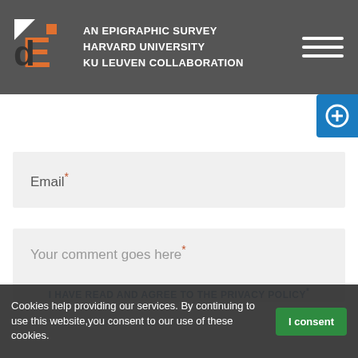AN EPIGRAPHIC SURVEY HARVARD UNIVERSITY KU LEUVEN COLLABORATION
Email*
Your comment goes here*
I HAVE READ AND AGREE TO THE PRIVACY POLICY*
Cookies help providing our services. By continuing to use this website,you consent to our use of these cookies. I consent